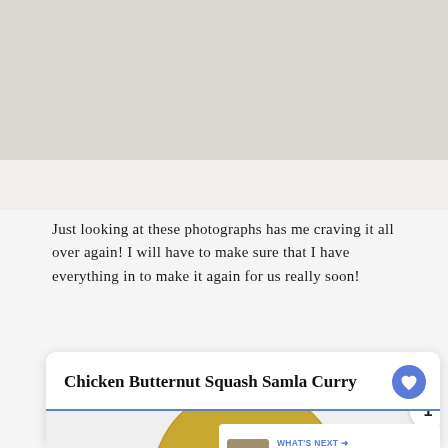[Figure (photo): Top portion of a food photograph (cropped, partially visible at top of page)]
Just looking at these photographs has me craving it all over again! I will have to make sure that I have everything in to make it again for us really soon!
Chicken Butternut Squash Samla Curry
[Figure (photo): Circular photo of a chicken butternut squash curry dish with green beans and orange squash pieces in a dark pan]
PRINT
1
WHAT'S NEXT → Roasted Butternut...